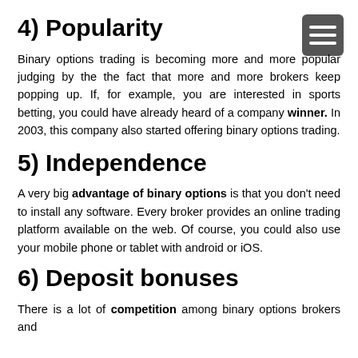4) Popularity
Binary options trading is becoming more and more popular judging by the the fact that more and more brokers keep popping up. If, for example, you are interested in sports betting, you could have already heard of a company winner. In 2003, this company also started offering binary options trading.
5) Independence
A very big advantage of binary options is that you don't need to install any software. Every broker provides an online trading platform available on the web. Of course, you could also use your mobile phone or tablet with android or iOS.
6) Deposit bonuses
There is a lot of competition among binary options brokers and